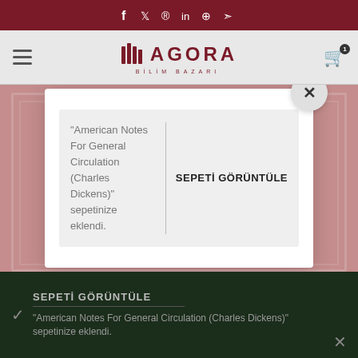Social media icons: f t p in WhatsApp Telegram
[Figure (screenshot): Agora Bilim Pazari website header with logo and navigation]
[Figure (screenshot): Red book cover background with modal dialog overlay showing: "American Notes For General Circulation (Charles Dickens)" sepetinize eklendi. | SEPETİ GÖRÜNTÜLE button and close X button]
"American Notes For General Circulation (Charles Dickens)" sepetinize eklendi.
SEPETİ GÖRÜNTÜLE
SEPETİ GÖRÜNTÜLE
"American Notes For General Circulation (Charles Dickens)" sepetinize eklendi.